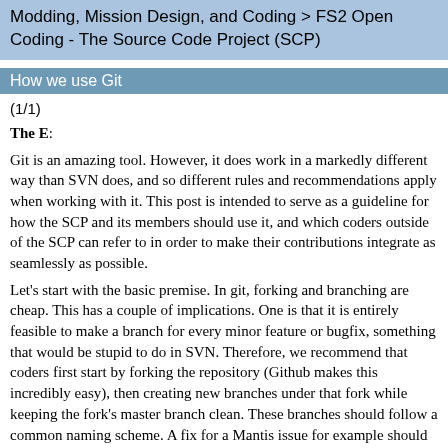Modding, Mission Design, and Coding > FS2 Open Coding - The Source Code Project (SCP)
How we use Git
(1/1)
The E:
Git is an amazing tool. However, it does work in a markedly different way than SVN does, and so different rules and recommendations apply when working with it. This post is intended to serve as a guideline for how the SCP and its members should use it, and which coders outside of the SCP can refer to in order to make their contributions integrate as seamlessly as possible.
Let's start with the basic premise. In git, forking and branching are cheap. This has a couple of implications. One is that it is entirely feasible to make a branch for every minor feature or bugfix, something that would be stupid to do in SVN. Therefore, we recommend that coders first start by forking the repository (Github makes this incredibly easy), then creating new branches under that fork while keeping the fork's master branch clean. These branches should follow a common naming scheme. A fix for a Mantis issue for example should be based on this branch and called "mantis-fixes"